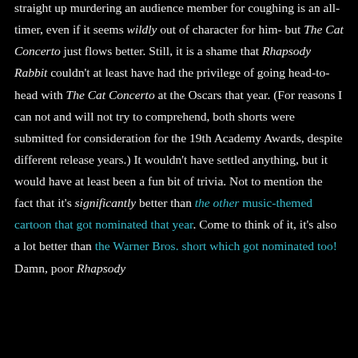straight up murdering an audience member for coughing is an all-timer, even if it seems wildly out of character for him- but The Cat Concerto just flows better. Still, it is a shame that Rhapsody Rabbit couldn't at least have had the privilege of going head-to-head with The Cat Concerto at the Oscars that year. (For reasons I can not and will not try to comprehend, both shorts were submitted for consideration for the 19th Academy Awards, despite different release years.) It wouldn't have settled anything, but it would have at least been a fun bit of trivia. Not to mention the fact that it's significantly better than the other music-themed cartoon that got nominated that year. Come to think of it, it's also a lot better than the Warner Bros. short which got nominated too! Damn, poor Rhapsody